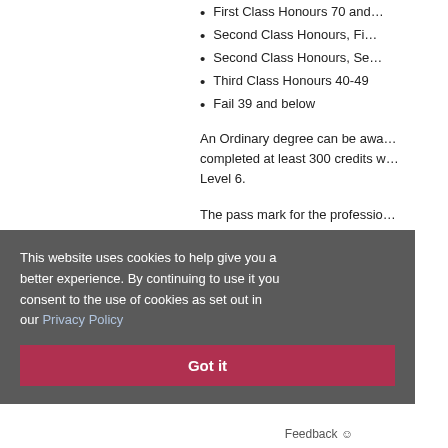First Class Honours 70 and above
Second Class Honours, First Division 60-69
Second Class Honours, Second Division 50-59
Third Class Honours 40-49
Fail 39 and below
An Ordinary degree can be awarded to students who have completed at least 300 credits with no credits below Level 6.
The pass mark for the professional degrees of Medicine and Dentistry is 50%. To be awarded an Honours degree in the disciplines of Dentistry, Medicine, and Veterinary Science, Medicine, and Dentistry, you must refer to the relevant Regulations and Code of Practice.
This website uses cookies to help give you a better experience. By continuing to use it you consent to the use of cookies as set out in our Privacy Policy
Feedback